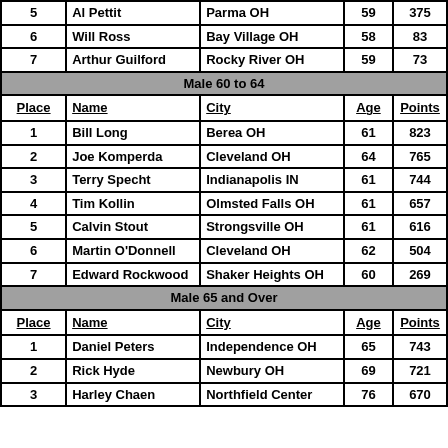| Place | Name | City | Age | Points |
| --- | --- | --- | --- | --- |
| 5 | Al Pettit | Parma OH | 59 | 375 |
| 6 | Will Ross | Bay Village OH | 58 | 83 |
| 7 | Arthur Guilford | Rocky River OH | 59 | 73 |
Male 60 to 64
| Place | Name | City | Age | Points |
| --- | --- | --- | --- | --- |
| 1 | Bill Long | Berea OH | 61 | 823 |
| 2 | Joe Komperda | Cleveland OH | 64 | 765 |
| 3 | Terry Specht | Indianapolis IN | 61 | 744 |
| 4 | Tim Kollin | Olmsted Falls OH | 61 | 657 |
| 5 | Calvin Stout | Strongsville OH | 61 | 616 |
| 6 | Martin O'Donnell | Cleveland OH | 62 | 504 |
| 7 | Edward Rockwood | Shaker Heights OH | 60 | 269 |
Male 65 and Over
| Place | Name | City | Age | Points |
| --- | --- | --- | --- | --- |
| 1 | Daniel Peters | Independence OH | 65 | 743 |
| 2 | Rick Hyde | Newbury OH | 69 | 721 |
| 3 | Harley Chaen | Northfield Center | 76 | 670 |